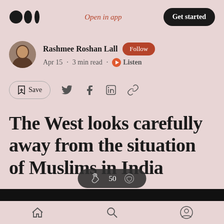Open in app | Get started
Rashmee Roshan Lall · Follow
Apr 15 · 3 min read · Listen
Save
The West looks carefully away from the situation of Muslims in India
50